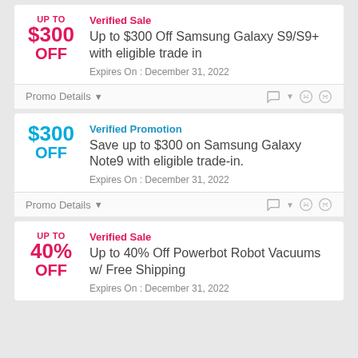UP TO $300 OFF
Verified Sale
Up to $300 Off Samsung Galaxy S9/S9+ with eligible trade in
Expires On : December 31, 2022
Promo Details
$300 OFF
Verified Promotion
Save up to $300 on Samsung Galaxy Note9 with eligible trade-in.
Expires On : December 31, 2022
Promo Details
UP TO 40% OFF
Verified Sale
Up to 40% Off Powerbot Robot Vacuums w/ Free Shipping
Expires On : December 31, 2022